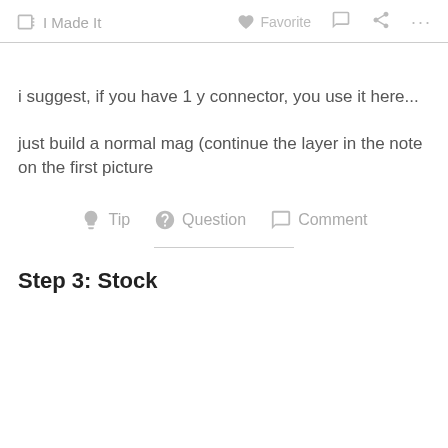🖐 I Made It   ♡ Favorite   💬   ⬡   ...
i suggest, if you have 1 y connector, you use it here...
just build a normal mag (continue the layer in the note on the first picture
💡 Tip   ? Question   💬 Comment
Step 3: Stock